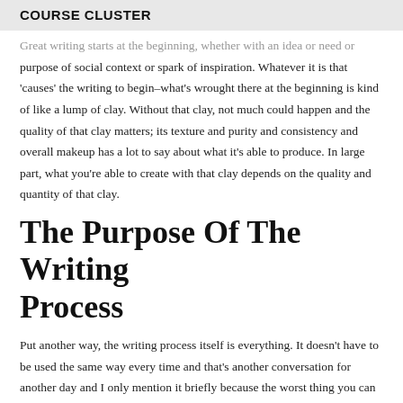COURSE CLUSTER
Great writing starts at the beginning, whether with an idea or need or purpose of social context or spark of inspiration. Whatever it is that ‘causes’ the writing to begin–what’s wrought there at the beginning is kind of like a lump of clay. Without that clay, not much could happen and the quality of that clay matters; its texture and purity and consistency and overall makeup has a lot to say about what it’s able to produce. In large part, what you’re able to create with that clay depends on the quality and quantity of that clay.
The Purpose Of The Writing Process
Put another way, the writing process itself is everything. It doesn’t have to be used the same way every time and that’s another conversation for another day and I only mention it briefly because the worst thing you can do is read this post and then go shove the ‘diligence of the writing